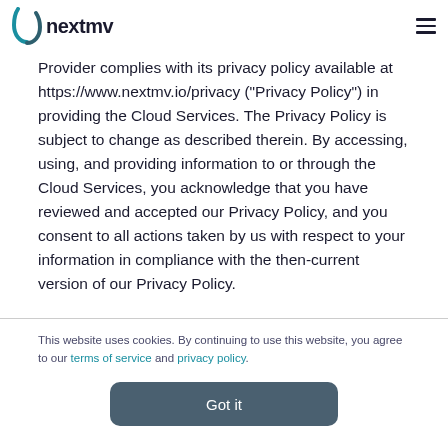nextmv
Provider complies with its privacy policy available at https://www.nextmv.io/privacy ("Privacy Policy") in providing the Cloud Services. The Privacy Policy is subject to change as described therein. By accessing, using, and providing information to or through the Cloud Services, you acknowledge that you have reviewed and accepted our Privacy Policy, and you consent to all actions taken by us with respect to your information in compliance with the then-current version of our Privacy Policy.
This website uses cookies. By continuing to use this website, you agree to our terms of service and privacy policy.
Got it